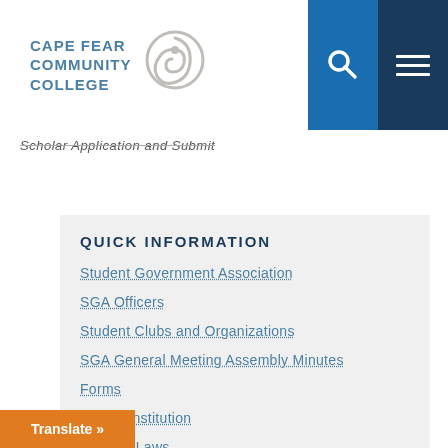[Figure (logo): Cape Fear Community College logo with stylized bird/P icon and text]
Scholar Application and Submit
QUICK INFORMATION
Student Government Association
SGA Officers
Student Clubs and Organizations
SGA General Meeting Assembly Minutes
Forms
SGA Constitution
SGA By-Laws
Translate »